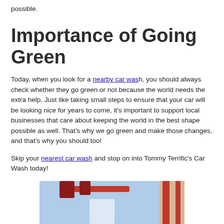possible.
Importance of Going Green
Today, when you look for a nearby car wash, you should always check whether they go green or not because the world needs the extra help. Just like taking small steps to ensure that your car will be looking nice for years to come, it’s important to support local businesses that care about keeping the world in the best shape possible as well. That’s why we go green and make those changes, and that’s why you should too!
Skip your nearest car wash and stop on into Tommy Terrific’s Car Wash today!
[Figure (photo): Photo of car wash equipment including red mechanical arms and nozzles against a light blue background with a wall visible on the right side.]